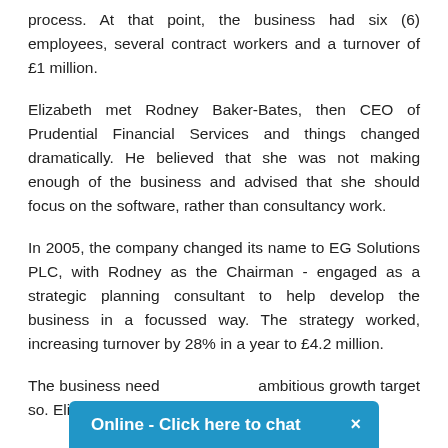process. At that point, the business had six (6) employees, several contract workers and a turnover of £1 million.
Elizabeth met Rodney Baker-Bates, then CEO of Prudential Financial Services and things changed dramatically. He believed that she was not making enough of the business and advised that she should focus on the software, rather than consultancy work.
In 2005, the company changed its name to EG Solutions PLC, with Rodney as the Chairman - engaged as a strategic planning consultant to help develop the business in a focussed way. The strategy worked, increasing turnover by 28% in a year to £4.2 million.
The business need... ambitious growth target so. Elizabeth decided to float
[Figure (other): Blue chat widget bar at bottom of page reading 'Online - Click here to chat' with a close (×) button]